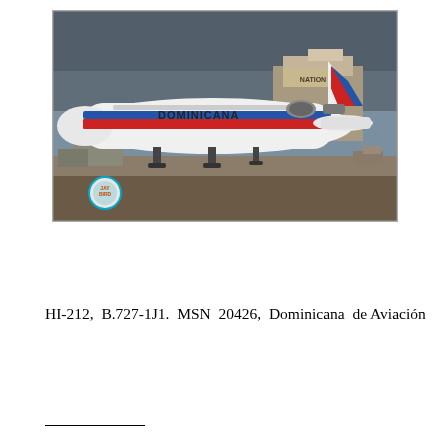[Figure (photo): Photograph of a Dominicana de Aviación Boeing 727-1J1 aircraft on the tarmac at an airport. The aircraft has a white fuselage with blue and red stripe livery and 'DOMINICANA' lettering on the body. The tail features the Dominican Republic flag colors in a cross pattern. The photo has a 'JAYBIRD' watermark logo in the lower left corner.]
HI-212, B.727-1J1. MSN 20426, Dominicana de Aviación